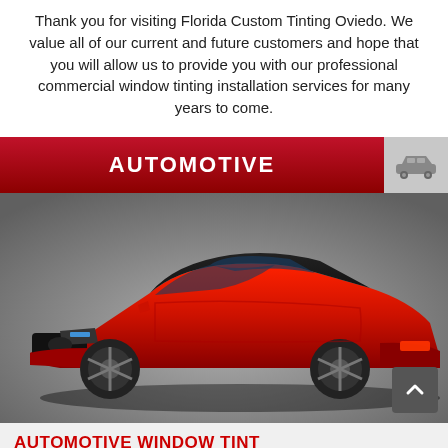Thank you for visiting Florida Custom Tinting Oviedo. We value all of our current and future customers and hope that you will allow us to provide you with our professional commercial window tinting installation services for many years to come.
[Figure (infographic): Red banner with white bold text 'AUTOMOTIVE' and a grey car icon on the right side]
[Figure (photo): A red Ford Mustang sports car photographed from a front-side angle on a grey background]
AUTOMOTIVE WINDOW TINT